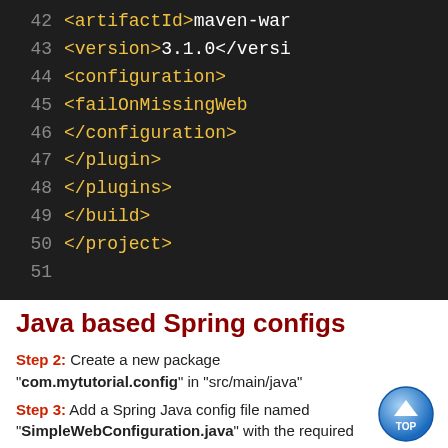[Figure (screenshot): Dark-themed code editor showing XML lines 42-51 with yellow tags and white text on dark background]
Java based Spring configs
Step 2: Create a new package "com.mytutorial.config" in "src/main/java"
Step 3: Add a Spring Java config file named "SimpleWebConfiguration.java" with the required